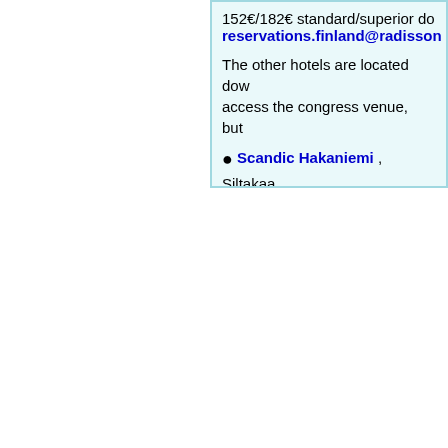152€/182€ standard/superior do... reservations.finland@radisson...
The other hotels are located dow... access the congress venue, but ...
Scandic Hakaniemi , Siltakaa... room. Reservation link
Scandic Simonkenttä , Simon... Reservation link
Radisson Blu Plaza Hotel, M... room. Reservations: reservation...